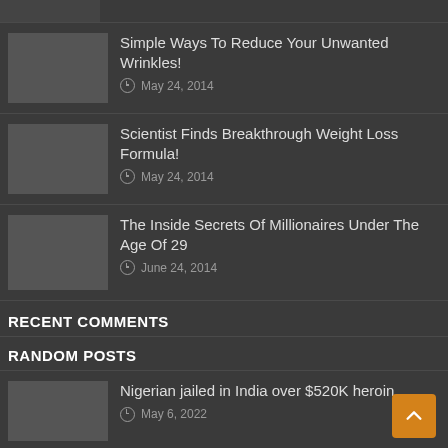[Figure (photo): Thumbnail image strip at top]
Simple Ways To Reduce Your Unwanted Wrinkles!
May 24, 2014
Scientist Finds Breakthrough Weight Loss Formula!
May 24, 2014
The Inside Secrets Of Millionaires Under The Age Of 29
June 24, 2014
RECENT COMMENTS
RANDOM POSTS
[Figure (photo): Thumbnail image for Nigerian jailed post]
Nigerian jailed in India over $520K heroin
May 6, 2022